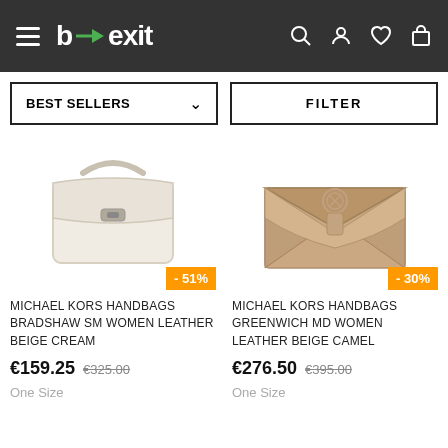b→exit (navigation bar with hamburger menu, logo, search, account, wishlist, cart icons)
BEST SELLERS ∨
FILTER
[Figure (photo): Michael Kors cream/beige leather crossbody handbag (Bradshaw SM)]
-51%
MICHAEL KORS HANDBAGS BRADSHAW SM WOMEN LEATHER BEIGE CREAM
€159.25  €325.00
One Size
[Figure (photo): Michael Kors camel/tan leather envelope clutch/handbag (Greenwich MD)]
-30%
MICHAEL KORS HANDBAGS GREENWICH MD WOMEN LEATHER BEIGE CAMEL
€276.50  €395.00
One Size